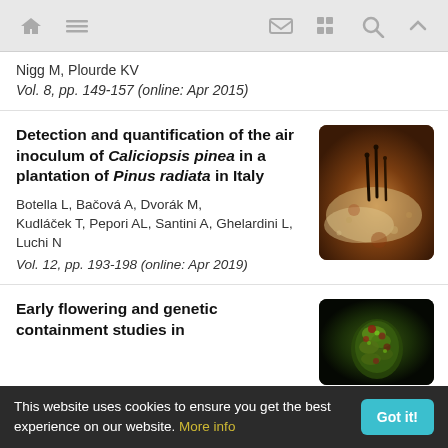Navigation bar with home, menu, email, grid, search, and up icons
Nigg M, Plourde KV
Vol. 8, pp. 149-157 (online: Apr 2015)
Detection and quantification of the air inoculum of Caliciopsis pinea in a plantation of Pinus radiata in Italy
[Figure (photo): Close-up photograph of Caliciopsis pinea fungal structures on pine bark, showing dark needle-like protrusions against a pale, crusty substrate]
Botella L, Bačová A, Dvorák M, Kudláček T, Pepori AL, Santini A, Ghelardini L, Luchi N
Vol. 12, pp. 193-198 (online: Apr 2019)
Early flowering and genetic containment studies in
[Figure (photo): Close-up photograph of a dark pine cone or flowering structure on a black background, showing green and reddish elements]
This website uses cookies to ensure you get the best experience on our website. More info
Got it!